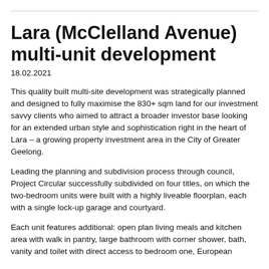Lara (McClelland Avenue) multi-unit development
18.02.2021
This quality built multi-site development was strategically planned and designed to fully maximise the 830+ sqm land for our investment savvy clients who aimed to attract a broader investor base looking for an extended urban style and sophistication right in the heart of Lara – a growing property investment area in the City of Greater Geelong.
Leading the planning and subdivision process through council, Project Circular successfully subdivided on four titles, on which the two-bedroom units were built with a highly liveable floorplan, each with a single lock-up garage and courtyard.
Each unit features additional: open plan living meals and kitchen area with walk in pantry, large bathroom with corner shower, bath, vanity and toilet with direct access to bedroom one, European